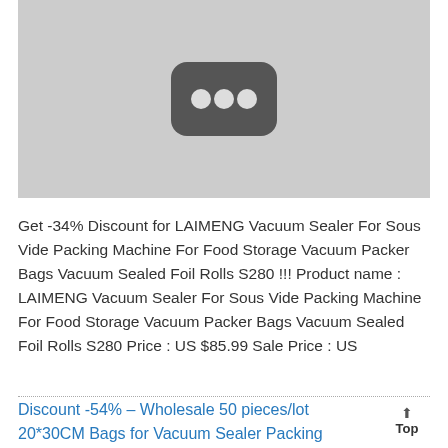[Figure (photo): Product image placeholder showing a YouTube-style icon on a gray background]
Get -34% Discount for LAIMENG Vacuum Sealer For Sous Vide Packing Machine For Food Storage Vacuum Packer Bags Vacuum Sealed Foil Rolls S280 !!! Product name : LAIMENG Vacuum Sealer For Sous Vide Packing Machine For Food Storage Vacuum Packer Bags Vacuum Sealed Foil Rolls S280 Price : US $85.99 Sale Price : US
Discount -54% – Wholesale 50 pieces/lot 20*30CM Bags for Vacuum Sealer Packing Machine 20x30 CM Vac...